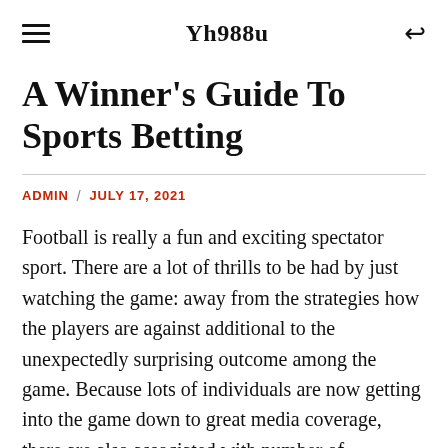Yh988u
A Winner's Guide To Sports Betting
ADMIN / JULY 17, 2021
Football is really a fun and exciting spectator sport. There are a lot of thrills to be had by just watching the game: away from the strategies how the players are against additional to the unexpectedly surprising outcome among the game. Because lots of individuals are now getting into the game down to great media coverage, there are also associated with number of